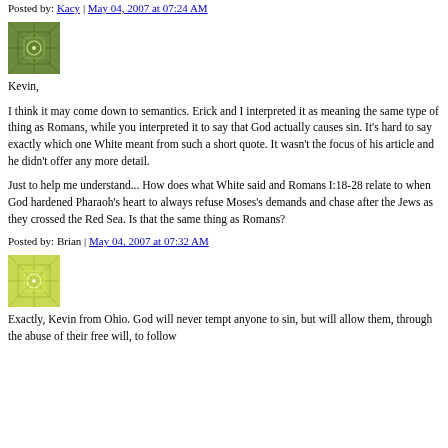Posted by: Kacy | May 04, 2007 at 07:24 AM
[Figure (photo): Green geometric pattern avatar for Kacy]
Kevin,
I think it may come down to semantics. Erick and I interpreted it as meaning the same type of thing as Romans, while you interpreted it to say that God actually causes sin. It's hard to say exactly which one White meant from such a short quote. It wasn't the focus of his article and he didn't offer any more detail.
Just to help me understand... How does what White said and Romans I:18-28 relate to when God hardened Pharaoh's heart to always refuse Moses's demands and chase after the Jews as they crossed the Red Sea. Is that the same thing as Romans?
Posted by: Brian | May 04, 2007 at 07:32 AM
[Figure (photo): Yellow-green geometric pattern avatar for Brian]
Exactly, Kevin from Ohio. God will never tempt anyone to sin, but will allow them, through the abuse of their free will, to follow...